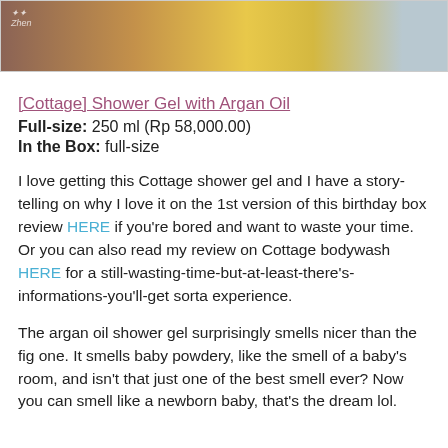[Figure (photo): Partial photo showing a yellow product bottle against a wooden surface, with a watermark in the top-left corner.]
[Cottage] Shower Gel with Argan Oil
Full-size: 250 ml (Rp 58,000.00)
In the Box: full-size
I love getting this Cottage shower gel and I have a story-telling on why I love it on the 1st version of this birthday box review HERE if you're bored and want to waste your time. Or you can also read my review on Cottage bodywash HERE for a still-wasting-time-but-at-least-there's-informations-you'll-get sorta experience.
The argan oil shower gel surprisingly smells nicer than the fig one. It smells baby powdery, like the smell of a baby's room, and isn't that just one of the best smell ever? Now you can smell like a newborn baby, that's the dream lol.